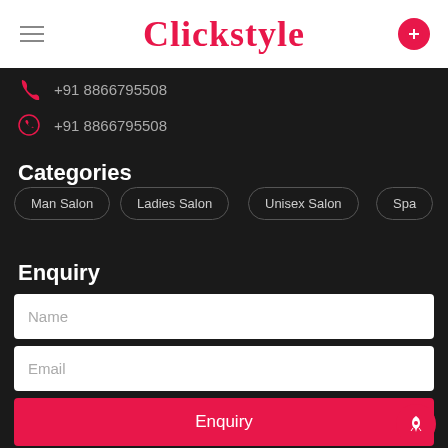Clickstyle
+91 8866795508
+91 8866795508
Categories
Man Salon
Ladies Salon
Unisex Salon
Spa
Enquiry
Name
Email
Enquiry